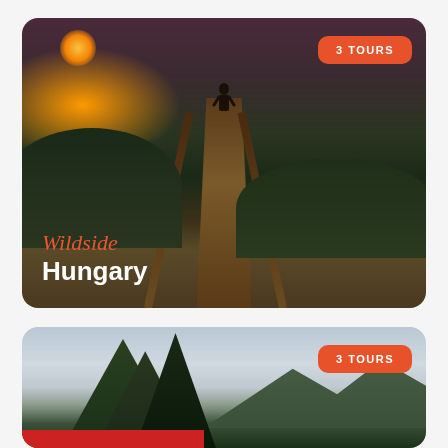[Figure (photo): A person sitting on a wooden boardwalk/bridge overlook at sunset, with sweeping mountain valley views and green forested hills. Tagged 'Wildside Hungary' with a '3 TOURS' badge.]
3 TOURS
Wildside Hungary
[Figure (photo): A mountain landscape with conifer trees in foreground, mountains in background under cloudy sky, and a red vehicle/train visible at the bottom. Tagged with a '3 TOURS' badge.]
3 TOURS